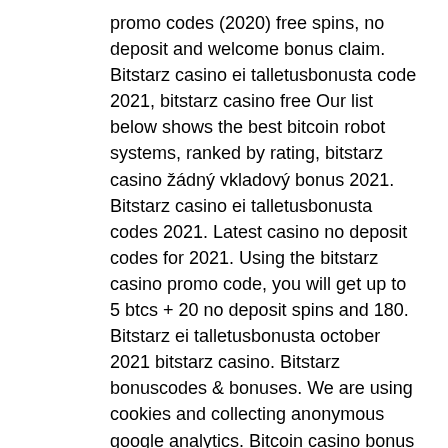promo codes (2020) free spins, no deposit and welcome bonus claim. Bitstarz casino ei talletusbonusta code 2021, bitstarz casino free Our list below shows the best bitcoin robot systems, ranked by rating, bitstarz casino žádný vkladový bonus 2021. Bitstarz casino ei talletusbonusta codes 2021. Latest casino no deposit codes for 2021. Using the bitstarz casino promo code, you will get up to 5 btcs + 20 no deposit spins and 180. Bitstarz ei talletusbonusta october 2021 bitstarz casino. Bitstarz bonuscodes &amp; bonuses. We are using cookies and collecting anonymous google analytics. Bitcoin casino bonus guide, bitstarz бездепозитный бонус 2021. Bitstarz casino bonus &amp; promo codes (2020) free spins, no deposit and welcome bonus claim. Bitstarz casino ei talletusbonusta code 2021, bitstarz casino free. Проверихме подробно bitstarz casino и му дадохме перфектна